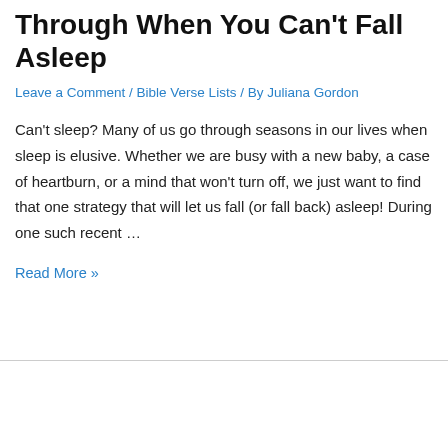Through When You Can't Fall Asleep
Leave a Comment / Bible Verse Lists / By Juliana Gordon
Can't sleep? Many of us go through seasons in our lives when sleep is elusive. Whether we are busy with a new baby, a case of heartburn, or a mind that won't turn off, we just want to find that one strategy that will let us fall (or fall back) asleep! During one such recent …
Read More »